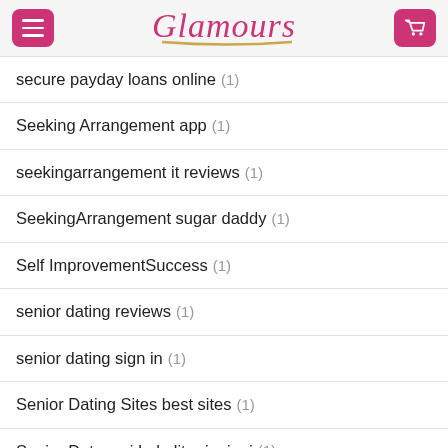Glamours
secure payday loans online (1)
Seeking Arrangement app (1)
seekingarrangement it reviews (1)
SeekingArrangement sugar daddy (1)
Self ImprovementSuccess (1)
senior dating reviews (1)
senior dating sign in (1)
Senior Dating Sites best sites (1)
Senior Datovani Lokalit pripojeni (1)
Senior Sizzle company site (1)